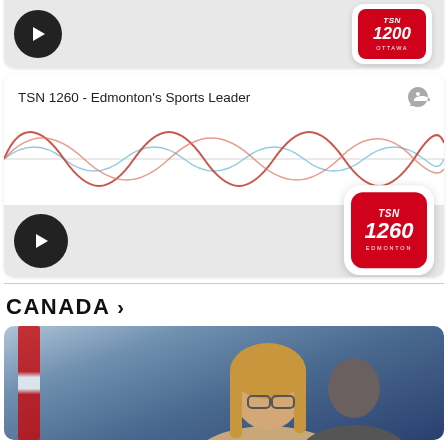[Figure (screenshot): Radio card with play button and TSN 1200 Ottawa logo on gray background]
[Figure (screenshot): TSN 1260 Edmonton's Sports Leader radio card with audio waveform visualization, play button, TSN 1260 Edmonton logo, and iHeartRadio icon]
CANADA >
[Figure (photo): Two people at a press conference in front of Canadian flags – a blonde woman with glasses in the foreground and a man in the background]